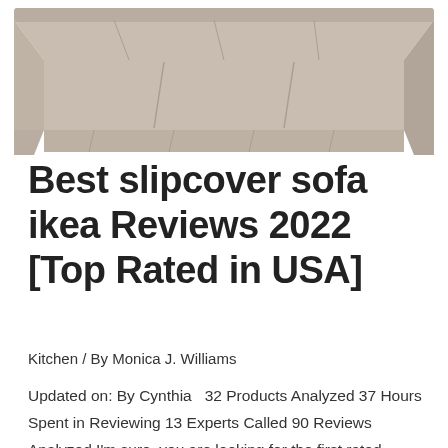[Figure (photo): A beige/tan sofa with slipcover, seen from above and slightly front, against a white background]
Best slipcover sofa ikea Reviews 2022 [Top Rated in USA]
Kitchen / By Monica J. Williams
Updated on: By Cynthia  32 Products Analyzed 37 Hours Spent in Reviewing 13 Experts Called 90 Reviews Analyzed I'm sure, you are looking for the first rated slipcover sofa ikea? Well, just grab some coffee and continue! We have enormous